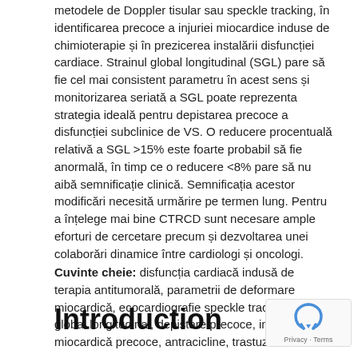metodele de Doppler tisular sau speckle tracking, în identificarea precoce a injuriei miocardice induse de chimioterapie și în prezicerea instalării disfuncției cardiace. Strainul global longitudinal (SGL) pare să fie cel mai consistent parametru în acest sens și monitorizarea seriată a SGL poate reprezenta strategia ideală pentru depistarea precoce a disfuncției subclinice de VS. O reducere procentuală relativă a SGL >15% este foarte probabil să fie anormală, în timp ce o reducere <8% pare să nu aibă semnificație clinică. Semnificația acestor modificări necesită urmărire pe termen lung. Pentru a înțelege mai bine CTRCD sunt necesare ample eforturi de cercetare precum și dezvoltarea unei colaborări dinamice între cardiologi și oncologi.
Cuvinte cheie: disfuncția cardiacă indusă de terapia antitumorală, parametrii de deformare miocardică, ecocardiografie speckle tracking, strain global longitudinal, depistare precoce, injurie miocardică precoce, antracicline, trastuzumab
Introduction